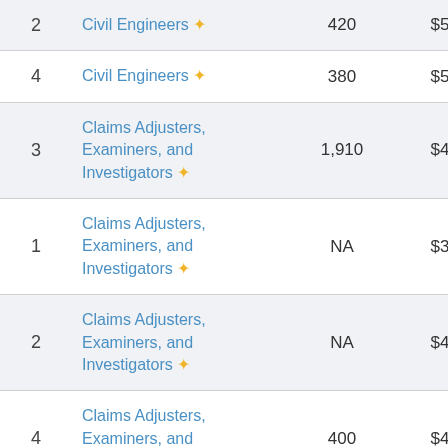| # | Occupation | Employment | Median Wage | 75th Pct |
| --- | --- | --- | --- | --- |
| 2 | Civil Engineers ✦ | 420 | $55,940 | $67,... |
| 4 | Civil Engineers ✦ | 380 | $58,461 | $77,... |
| 3 | Claims Adjusters, Examiners, and Investigators ✦ | 1,910 | $40,283 | $63,... |
| 1 | Claims Adjusters, Examiners, and Investigators ✦ | NA | $34,157 | $51,... |
| 2 | Claims Adjusters, Examiners, and Investigators ✦ | NA | $48,470 | $67,... |
| 4 | Claims Adjusters, Examiners, and Investigators ✦ | 400 | $49,005 | $68,... |
|  | Claims Adjusters,... |  |  |  |